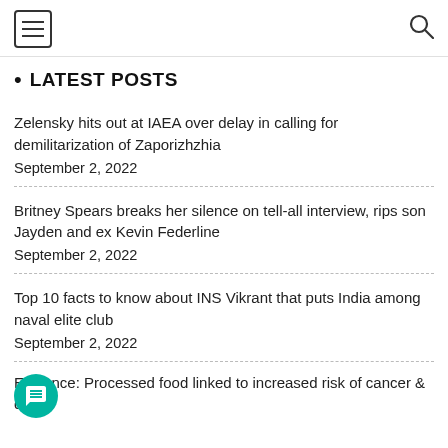[hamburger menu] [search icon]
• LATEST POSTS
Zelensky hits out at IAEA over delay in calling for demilitarization of Zaporizhzhia
September 2, 2022
Britney Spears breaks her silence on tell-all interview, rips son Jayden and ex Kevin Federline
September 2, 2022
Top 10 facts to know about INS Vikrant that puts India among naval elite club
September 2, 2022
Evidence: Processed food linked to increased risk of cancer & death